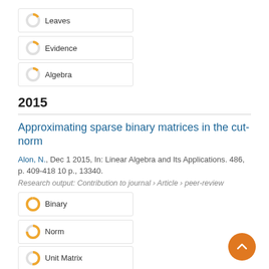Leaves
Evidence
Algebra
2015
Approximating sparse binary matrices in the cut-norm
Alon, N., Dec 1 2015, In: Linear Algebra and Its Applications. 486, p. 409-418 10 p., 13340.
Research output: Contribution to journal › Article › peer-review
Binary
Norm
Unit Matrix
Bipartite decomposition of random graphs
Alon, N., Jul 1 2015, In: Journal of Combinatorial Theory. Series B. 113, p. 220-235 16 p.